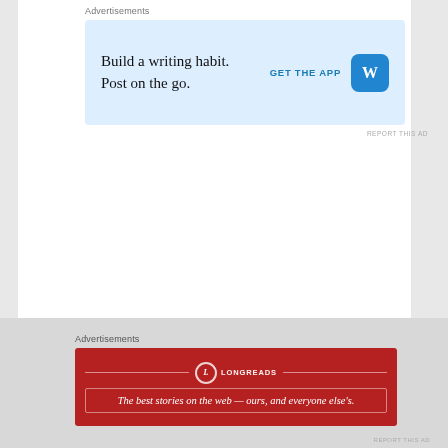Advertisements
[Figure (infographic): WordPress app advertisement banner with light blue background. Text: 'Build a writing habit. Post on the go.' with 'GET THE APP' call to action and WordPress logo icon.]
REPORT THIS AD
Advertisements
[Figure (infographic): Longreads advertisement banner with dark red background. Shows Longreads logo with circle L icon and tagline: 'The best stories on the web — ours, and everyone else's.']
REPORT THIS AD